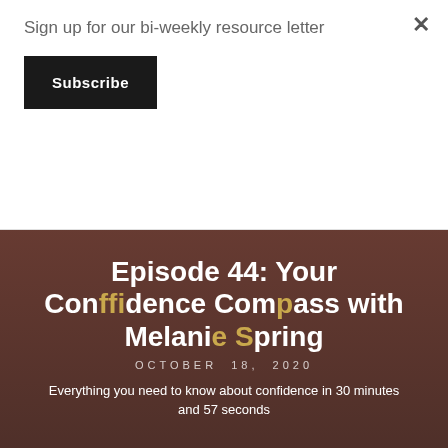Sign up for our bi-weekly resource letter
Subscribe
Episode 44: Your Confidence Compass with Melanie Spring
OCTOBER 18, 2020
Everything you need to know about confidence in 30 minutes and 57 seconds